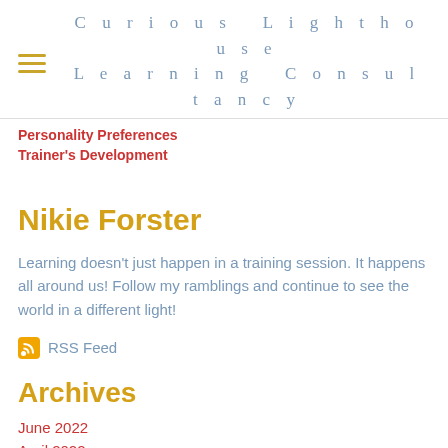Curious Lighthouse Learning Consultancy
Personality Preferences
Trainer's Development
Nikie Forster
Learning doesn't just happen in a training session.  It happens all around us!  Follow my ramblings and continue to see the world in a different light!
RSS Feed
Archives
June 2022
April 2022
March 2022
February 2022